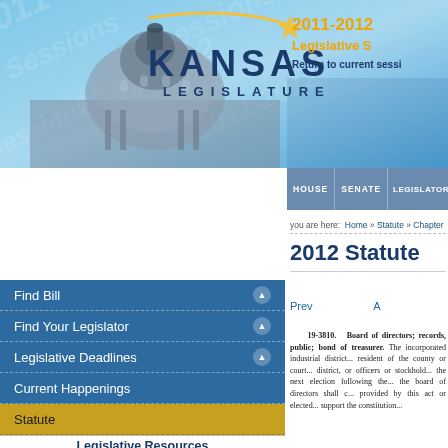[Figure (screenshot): Kansas Legislature website header with capitol dome photo, 2011-2012 Legislative Session watermark, gold arc logo, HOUSE/SENATE/LEGISLATORS navigation tabs]
2011-2012 Legislative S... Return to current sessi...
you are here: Home » Statute » Chapter
2012 Statute
Prev  A
Find Bill
Find Your Legislator
Legislative Deadlines
Current Happenings
Statute
Legislative Resources
Administrative Services
Division of Post Audit
Information Services
Research Department
19-3810. Board of dir... records, public; bond of tre... incorporated industrial distric... resident of the county or cour... district, or officers or stockhol... the next election following the... the board of directors shall c... provided by this act or electe... support the constitution...